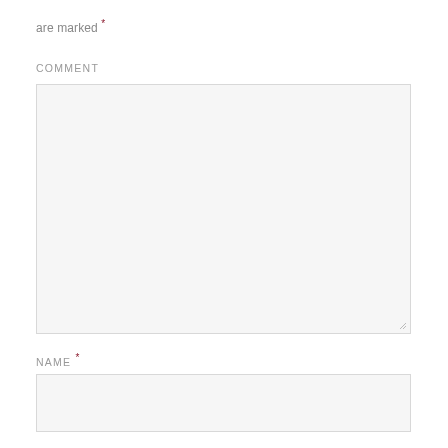are marked *
COMMENT
[Figure (other): Large empty comment text area input box with light gray background and resize handle in bottom-right corner]
NAME *
[Figure (other): Single-line name input field with light gray background]